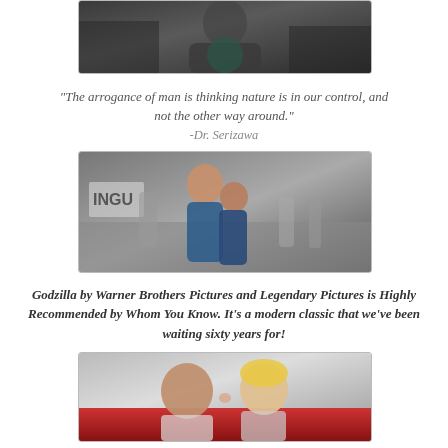[Figure (photo): Partial photo at top showing a woman in dark clothing against a moody backdrop, cropped at top of page]
"The arrogance of man is thinking nature is in our control, and not the other way around."
-Dr. Serizawa
[Figure (photo): Movie still showing a young woman in a city street hugging a child, with soldiers and crowds in the background]
Godzilla by Warner Brothers Pictures and Legendary Pictures is Highly Recommended by Whom You Know. It's a modern classic that we've been waiting sixty years for!
[Figure (photo): Movie still showing two people about to kiss, a young man and a blonde woman]